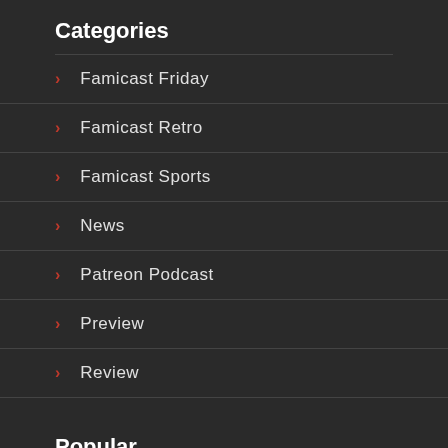Categories
Famicast Friday
Famicast Retro
Famicast Sports
News
Patreon Podcast
Preview
Review
Popular
Top Japan Only Wii U Titles